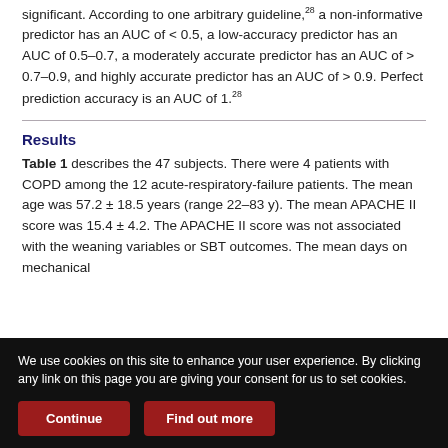significant. According to one arbitrary guideline,28 a non-informative predictor has an AUC of < 0.5, a low-accuracy predictor has an AUC of 0.5–0.7, a moderately accurate predictor has an AUC of > 0.7–0.9, and highly accurate predictor has an AUC of > 0.9. Perfect prediction accuracy is an AUC of 1.28
Results
Table 1 describes the 47 subjects. There were 4 patients with COPD among the 12 acute-respiratory-failure patients. The mean age was 57.2 ± 18.5 years (range 22–83 y). The mean APACHE II score was 15.4 ± 4.2. The APACHE II score was not associated with the weaning variables or SBT outcomes. The mean days on mechanical
We use cookies on this site to enhance your user experience. By clicking any link on this page you are giving your consent for us to set cookies.